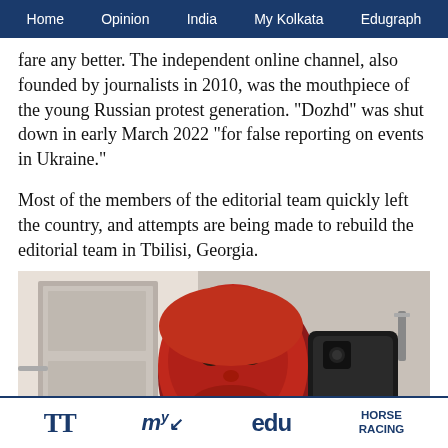Home   Opinion   India   My Kolkata   Edugraph
fare any better. The independent online channel, also founded by journalists in 2010, was the mouthpiece of the young Russian protest generation. "Dozhd" was shut down in early March 2022 "for false reporting on events in Ukraine."
Most of the members of the editorial team quickly left the country, and attempts are being made to rebuild the editorial team in Tbilisi, Georgia.
[Figure (photo): A man with red-stained face and hair taking a selfie in a bathroom mirror, wearing a blue shirt.]
TT   my   edu   HORSE RACING